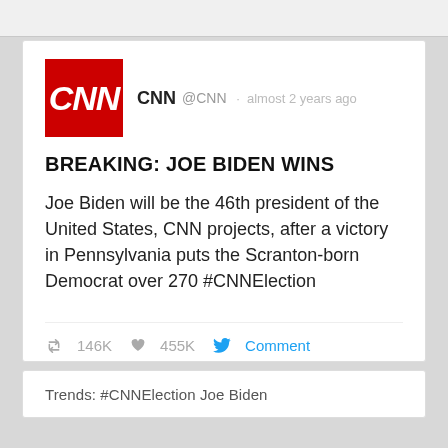[Figure (screenshot): CNN Twitter/social media post screenshot showing CNN logo (red square with CNN text), account name CNN @CNN, posted almost 2 years ago]
BREAKING: JOE BIDEN WINS
Joe Biden will be the 46th president of the United States, CNN projects, after a victory in Pennsylvania puts the Scranton-born Democrat over 270 #CNNElection
146K  455K  Comment
Trends: #CNNElection Joe Biden